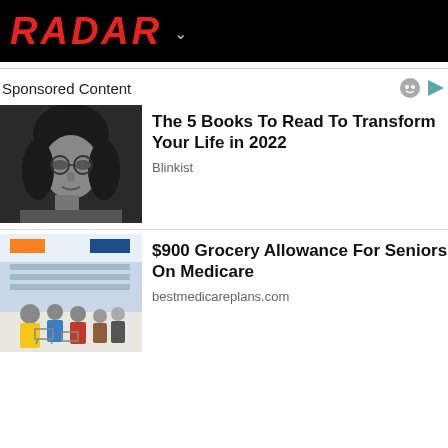RADAR
Sponsored Content
[Figure (photo): Black and white portrait of a young man with long hair and round glasses]
The 5 Books To Read To Transform Your Life in 2022
Blinkist
[Figure (photo): Busy grocery store with shoppers and shopping carts in colorful winter clothing]
$900 Grocery Allowance For Seniors On Medicare
bestmedicareplans.com